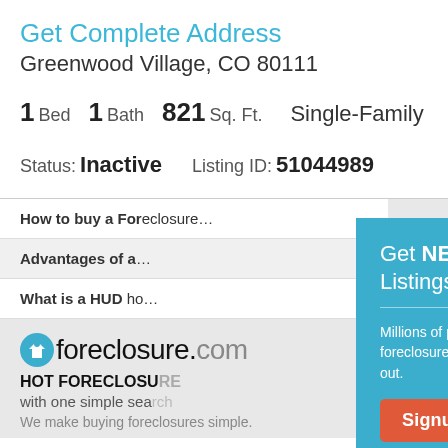Get Complete Address
Greenwood Village, CO 80111
1 Bed  1 Bath  821 Sq. Ft.  Single-Family
Status: Inactive   Listing ID: 51044989
How to buy a Foreclosure
Advantages of a Foreclosure
What is a HUD home
[Figure (screenshot): Popup modal: Get NEW Foreclosure Listings sent to your inbox. Millions of people receive foreclosure alerts daily, don't miss out. Signup Here button. No Thanks | Remind Me Later links.]
foreclosure.com
HOT FORECLOSURES — with one simple search
We make buying foreclosures simple.